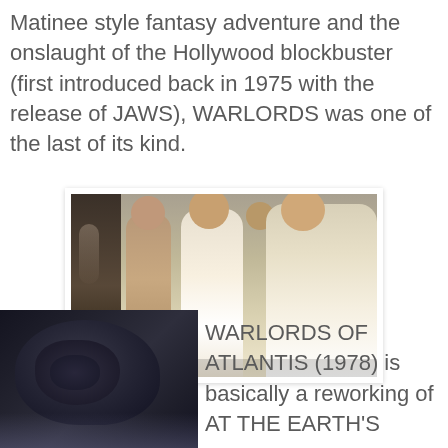Matinee style fantasy adventure and the onslaught of the Hollywood blockbuster (first introduced back in 1975 with the release of JAWS), WARLORDS was one of the last of its kind.
[Figure (photo): A film still showing three men in white shirts standing together, with a dark armored figure on the left and foliage in the background.]
[Figure (photo): A dark, dramatic image of a creature or monster figure with mist or fog in the background.]
WARLORDS OF ATLANTIS (1978) is basically a reworking of AT THE EARTH'S